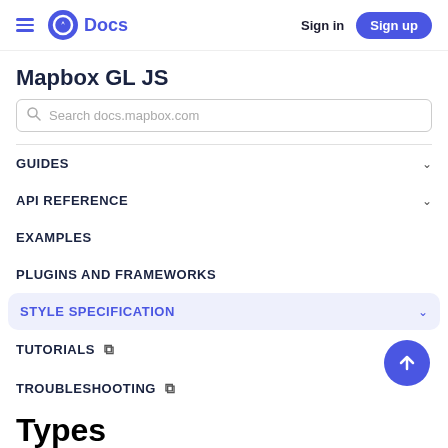Docs  Sign in  Sign up
Mapbox GL JS
Search docs.mapbox.com
GUIDES
API REFERENCE
EXAMPLES
PLUGINS AND FRAMEWORKS
STYLE SPECIFICATION
TUTORIALS
TROUBLESHOOTING
Types